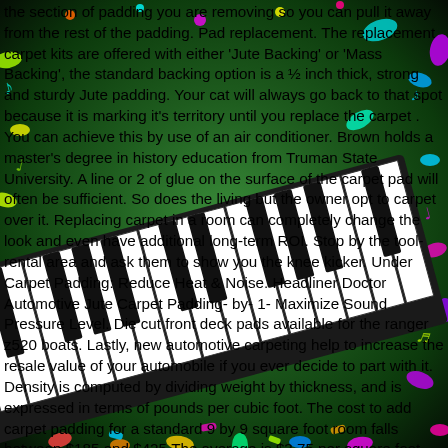[Figure (photo): Colorful confetti/musical notes background with a piano keyboard image overlaid diagonally across the middle of the page]
the section of padding you are removing so you can pull it away from the rest of the padding. Pad replacement. The replacement carpet kits are offered with either 'Jute Backing' or 'Mass Backing', the standard backing option is a ½ inch thick, strong and sturdy Jute padding. Your cat will always go back to that spot because it is marking it's territory until you replace the carpet . You can achieve this by use of an air conditioner. Brown holds a master's degree in history education from Truman State University. A line or 2 of glue on the surface of the carpet pad will often be sufficient. So does the living but the owner opt to carpet over it. Replacing carpet in a room can completely change the look and even have additional long-term ROI. Stop by the tool-rental area and ask them to show you the knee kicker. Under Carpet Padding: Reduce Heat & Noise. Headliner Doctor Automotive Jute Carpet Padding- by- 1- Maximize Sound Pressure Level. Die cut front deck pads available for the ranger z520 boats. Lastly, new automotive carpeting help to increase the resale value of your automobile if you ever decide to part with it. Density is computed by dividing weight by thickness, and is expressed in terms of pounds per cubic foot. The cost to add carpet padding for a standard 9 by 9 square foot room falls between $185 and $425.The average is $3.75 per square foot with labor and all materials included. Place the new pad so the waffled side faces up. Grab a knife or box cutter and cut out the area that was stained and square it off. But unfortunately, if you don't get your cat under control to